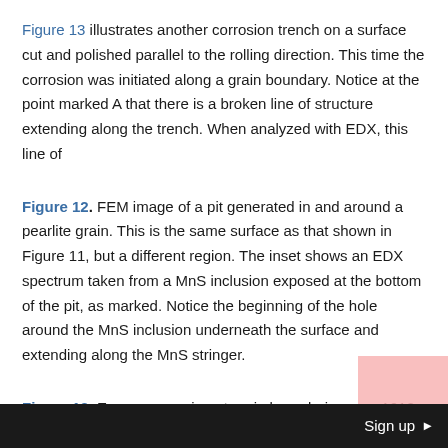Figure 13 illustrates another corrosion trench on a surface cut and polished parallel to the rolling direction. This time the corrosion was initiated along a grain boundary. Notice at the point marked A that there is a broken line of structure extending along the trench. When analyzed with EDX, this line of
Figure 12. FEM image of a pit generated in and around a pearlite grain. This is the same surface as that shown in Figure 11, but a different region. The inset shows an EDX spectrum taken from a MnS inclusion exposed at the bottom of the pit, as marked. Notice the beginning of the hole around the MnS inclusion underneath the surface and extending along the MnS stringer.
Figure 13. Excess corrosion at grain boundaries on a 1018 coupon